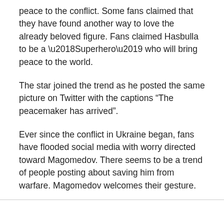peace to the conflict. Some fans claimed that they have found another way to love the already beloved figure. Fans claimed Hasbulla to be a ‘Superhero’ who will bring peace to the world.
The star joined the trend as he posted the same picture on Twitter with the captions “The peacemaker has arrived”.
Ever since the conflict in Ukraine began, fans have flooded social media with worry directed toward Magomedov. There seems to be a trend of people posting about saving him from warfare. Magomedov welcomes their gesture.